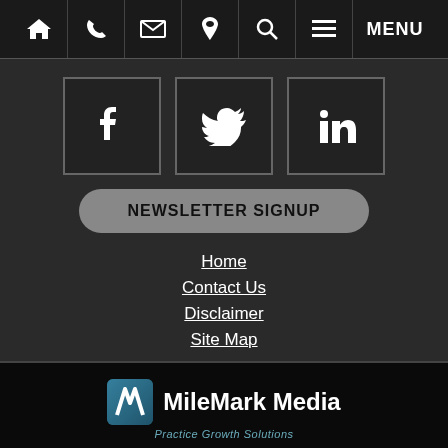[Navigation bar with home, phone, email, location, search, menu icons and MENU label]
[Figure (illustration): Three social media icon boxes: Facebook (f), Twitter (bird), LinkedIn (in)]
NEWSLETTER SIGNUP
Home
Contact Us
Disclaimer
Site Map
[Figure (logo): MileMark Media logo with tagline 'Practice Growth Solutions']
© 2019 - 2022 Roman & Roman, P.A.. All rights reserved.